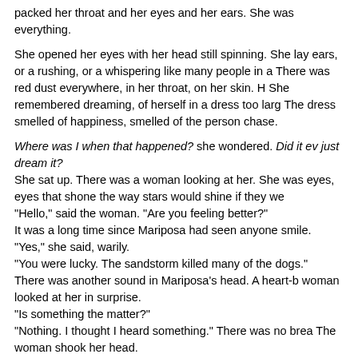packed her throat and her eyes and her ears. She was everything.

She opened her eyes with her head still spinning. She lay ears, or a rushing, or a whispering like many people in a There was red dust everywhere, in her throat, on her skin. H She remembered dreaming, of herself in a dress too larg The dress smelled of happiness, smelled of the person chase.
Where was I when that happened? she wondered. Did it ev just dream it?
She sat up. There was a woman looking at her. She was eyes, eyes that shone the way stars would shine if they we
"Hello," said the woman. "Are you feeling better?"
It was a long time since Mariposa had seen anyone smile.
"Yes," she said, warily.
"You were lucky. The sandstorm killed many of the dogs."
There was another sound in Mariposa's head. A heart-b woman looked at her in surprise.
"Is something the matter?"
"Nothing. I thought I heard something." There was no brea The woman shook her head.
"There's nothing here. Just us. No need to be afraid." She s
"I'm going to the City. But I'm not sure which one."